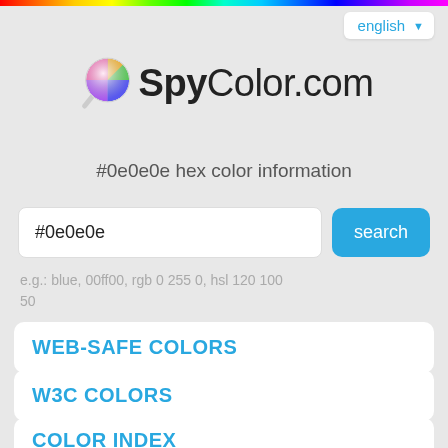[Figure (other): Rainbow gradient bar at top of page]
english ▼
[Figure (logo): SpyColor.com logo with colorful magnifying glass icon]
#0e0e0e hex color information
#0e0e0e
search
e.g.: blue, 00ff00, rgb 0 255 0, hsl 120 100 50
WEB-SAFE COLORS
W3C COLORS
COLOR INDEX
#0e0e0e basic color information
In the RGB